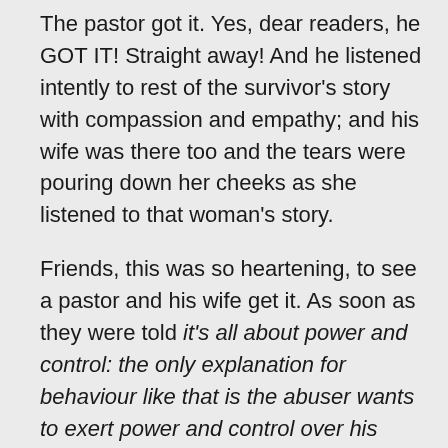The pastor got it. Yes, dear readers, he GOT IT! Straight away! And he listened intently to rest of the survivor's story with compassion and empathy; and his wife was there too and the tears were pouring down her cheeks as she listened to that woman's story.
Friends, this was so heartening, to see a pastor and his wife get it. As soon as they were told it's all about power and control: the only explanation for behaviour like that is the abuser wants to exert power and control over his chosen victim, they came on board and were able